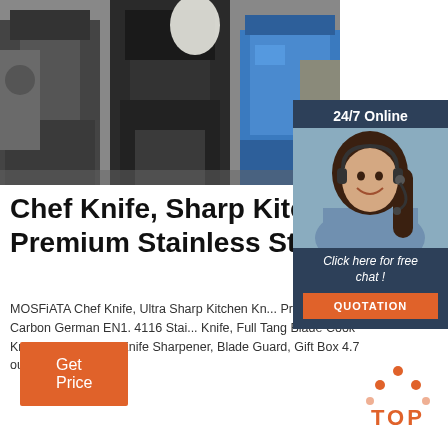[Figure (photo): Industrial machinery in a factory setting — black and blue metal machines on a workshop floor]
[Figure (infographic): 24/7 Online chat widget with a woman wearing a headset, 'Click here for free chat!' text, and an orange QUOTATION button]
Chef Knife, Sharp Kitchen Knife, Premium Stainless Steel ...
MOSFiATA Chef Knife, Ultra Sharp Kitchen Knife Premier High Carbon German EN1. 4116 Stainless Knife, Full Tang Blade Cook Knife with Finger Guard, Knife Sharpener, Blade Guard, Gift Box 4.7 out of 5 stars 1,797
[Figure (logo): TOP logo with orange dots above the word TOP in orange]
Get Price